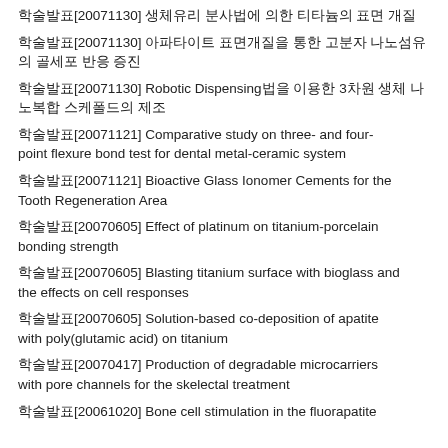학술발표[20071130] 생체유리 분사법에 의한 티타늄의 표면 개질
학술발표[20071130] 아파타이트 표면개질을 통한 고분자 나노섬유의 골세포 반응 증진
학술발표[20071130] Robotic Dispensing법을 이용한 3차원 생체 나노복합 스케폴드의 제조
학술발표[20071121] Comparative study on three- and four-point flexure bond test for dental metal-ceramic system
학술발표[20071121] Bioactive Glass Ionomer Cements for the Tooth Regeneration Area
학술발표[20070605] Effect of platinum on titanium-porcelain bonding strength
학술발표[20070605] Blasting titanium surface with bioglass and the effects on cell responses
학술발표[20070605] Solution-based co-deposition of apatite with poly(glutamic acid) on titanium
학술발표[20070417] Production of degradable microcarriers with pore channels for the skelectal treatment
학술발표[20061020] Bone cell stimulation in the fluorapatite